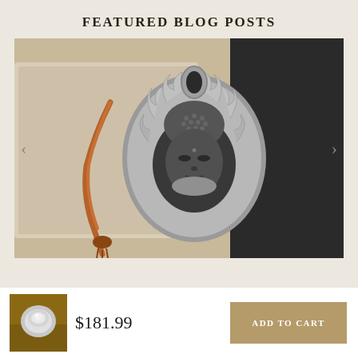FEATURED BLOG POSTS
[Figure (photo): A silver Buddha head pendant with flame motifs, displayed against a fabric gift box with an orange rope tassel. The pendant features detailed craftsmanship with textured hair and serene facial expression.]
[Figure (photo): Small thumbnail of a diamond/crystal ring on a wooden surface.]
$181.99
ADD TO CART